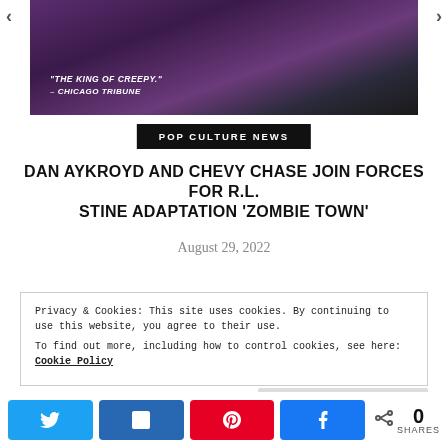[Figure (photo): Movie promotional image with dark horror theme, zombie hands visible, quote 'THE KING OF CREEPY.' – CHICAGO TRIBUNE in white text overlay on dark purple/black background]
POP CULTURE NEWS
DAN AYKROYD AND CHEVY CHASE JOIN FORCES FOR R.L. STINE ADAPTATION 'ZOMBIE TOWN'
August 29, 2022
Privacy & Cookies: This site uses cookies. By continuing to use this website, you agree to their use.
To find out more, including how to control cookies, see here: Cookie Policy